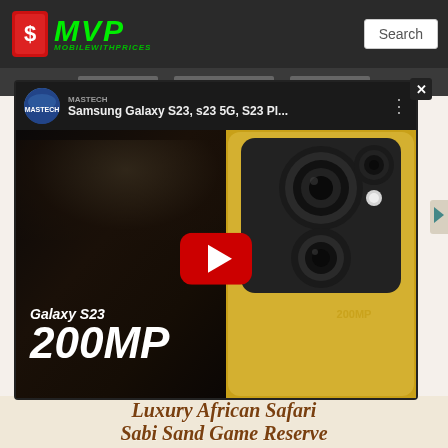MVP MobileWithPrices — Search
[Figure (screenshot): YouTube video embed showing Samsung Galaxy S23, s23 5G, S23 Pl... with MASTECH channel avatar, red play button, Galaxy S23 200MP text overlay, and gold Samsung phone with camera module]
Luxury African Safari
Sabi Sand Game Reserve
[Figure (photo): Photo of luxury African safari lodge at twilight with thatched roof buildings and trees]